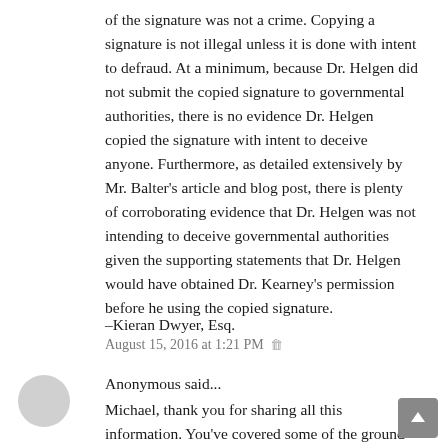of the signature was not a crime. Copying a signature is not illegal unless it is done with intent to defraud. At a minimum, because Dr. Helgen did not submit the copied signature to governmental authorities, there is no evidence Dr. Helgen copied the signature with intent to deceive anyone. Furthermore, as detailed extensively by Mr. Balter's article and blog post, there is plenty of corroborating evidence that Dr. Helgen was not intending to deceive governmental authorities given the supporting statements that Dr. Helgen would have obtained Dr. Kearney's permission before he using the copied signature.
–Kieran Dwyer, Esq.
August 15, 2016 at 1:21 PM
Anonymous said...
Michael, thank you for sharing all this information. You've covered some of the ground regarding the role of OIG vs NMNH internal investigations but I'm wondering if you could clarify a couple of things?